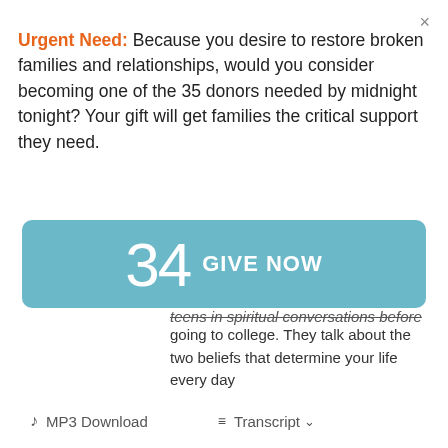×
Urgent Need: Because you desire to restore broken families and relationships, would you consider becoming one of the 35 donors needed by midnight tonight? Your gift will get families the critical support they need.
[Figure (other): Teal rounded button with number 34 and text GIVE NOW]
teens in spiritual conversations before going to college. They talk about the two beliefs that determine your life every day
♪ MP3 Download
≡ Transcript ▾